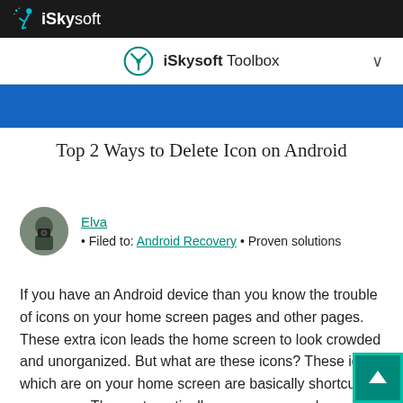iSkysoft
[Figure (logo): iSkysoft Toolbox navigation bar with logo icon and chevron]
[Figure (photo): Blue banner background strip]
Top 2 Ways to Delete Icon on Android
[Figure (photo): Author avatar photo of person holding camera]
Elva
• Filed to: Android Recovery • Proven solutions
If you have an Android device than you know the trouble of icons on your home screen pages and other pages. These extra icon leads the home screen to look crowded and unorganized. But what are these icons? These icons which are on your home screen are basically shortcut to your apps. They automatically appear on your home